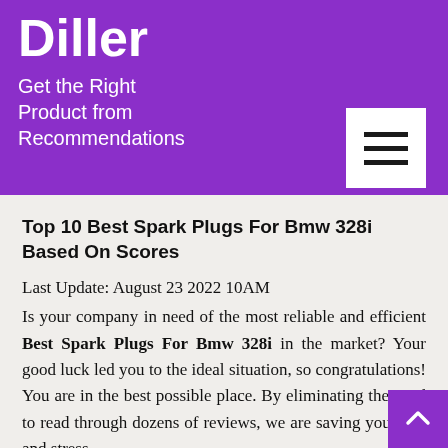Diller
Get the Right Product from Recommendations
Top 10 Best Spark Plugs For Bmw 328i Based On Scores
Last Update: August 23 2022 10AM
Is your company in need of the most reliable and efficient Best Spark Plugs For Bmw 328i in the market? Your good luck led you to the ideal situation, so congratulations! You are in the best possible place. By eliminating the need to read through dozens of reviews, we are saving you time and stress.